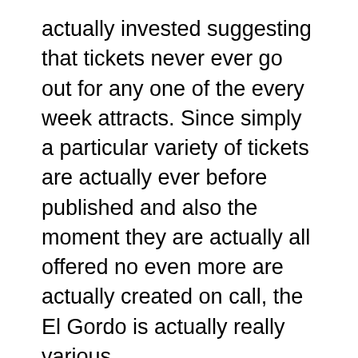actually invested suggesting that tickets never ever go out for any one of the every week attracts. Since simply a particular variety of tickets are actually ever before published and also the moment they are actually all offered no even more are actually created on call, the El Gordo is actually really various.
In a normal lottery video game a gamer is actually commonly demanded to choose a set of varieties coming from a defined variety assortment as properly as an added incentive amount. In the UK National lotto a gamer have to opt for 6 principal varieties coming from 1-49 broad and also after that a more perk amount coming from the very same variety.